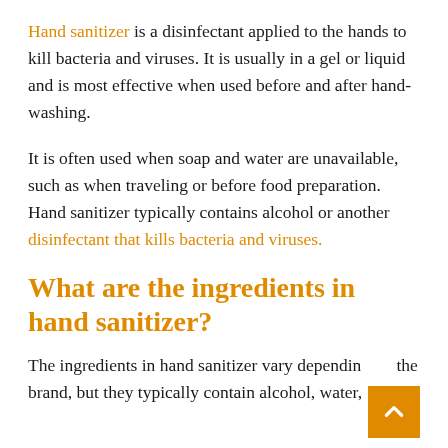Hand sanitizer is a disinfectant applied to the hands to kill bacteria and viruses. It is usually in a gel or liquid and is most effective when used before and after hand-washing.
It is often used when soap and water are unavailable, such as when traveling or before food preparation. Hand sanitizer typically contains alcohol or another disinfectant that kills bacteria and viruses.
What are the ingredients in hand sanitizer?
The ingredients in hand sanitizer vary depending on the brand, but they typically contain alcohol, water,